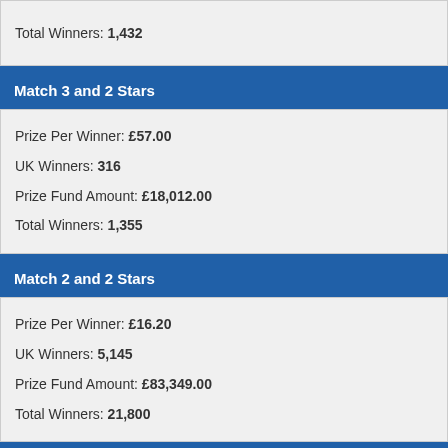Total Winners: 1,432
Match 3 and 2 Stars
Prize Per Winner: £57.00
UK Winners: 316
Prize Fund Amount: £18,012.00
Total Winners: 1,355
Match 2 and 2 Stars
Prize Per Winner: £16.20
UK Winners: 5,145
Prize Fund Amount: £83,349.00
Total Winners: 21,800
Match 3 and 1 Star
Prize Per Winner: £13.60